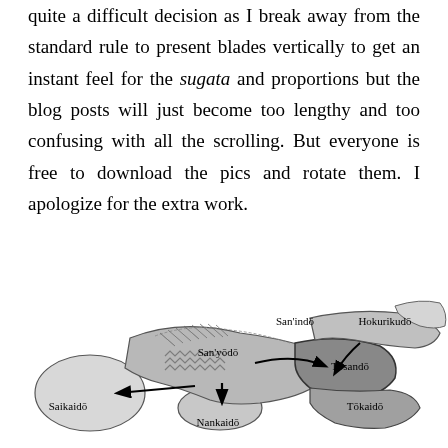quite a difficult decision as I break away from the standard rule to present blades vertically to get an instant feel for the sugata and proportions but the blog posts will just become too lengthy and too confusing with all the scrolling. But everyone is free to download the pics and rotate them. I apologize for the extra work.
[Figure (map): Map of Japan showing historical provinces/regions: San'indō, Hokurikudō, San'yōdō, Tōsandō, Nankaidō, Tōkaidō, Saikaidō, with arrows indicating directions/routes between them. Regions shown with different shading patterns.]